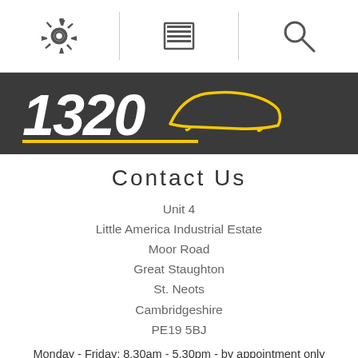[Figure (screenshot): Top navigation bar with gear icon, hamburger menu icon, and search icon separated by vertical dividers]
[Figure (logo): 1320 brand logo with yellow car silhouette outline on dark grey/charcoal background]
Contact Us
Unit 4
Little America Industrial Estate
Moor Road
Great Staughton
St. Neots
Cambridgeshire
PE19 5BJ
Monday - Friday: 8.30am - 5.30pm - by appointment only
Telephone: 01234 376089
Email: info@1320.co.uk